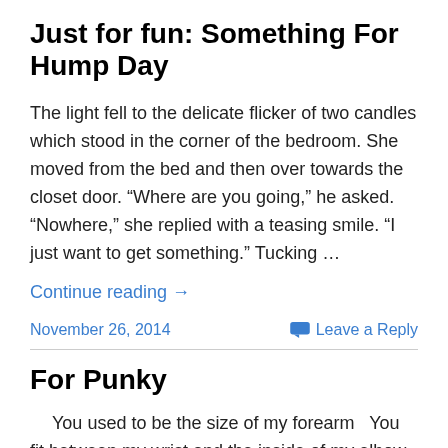Just for fun: Something For Hump Day
The light fell to the delicate flicker of two candles which stood in the corner of the bedroom. She moved from the bed and then over towards the closet door. “Where are you going,” he asked. “Nowhere,” she replied with a teasing smile. “I just want to get something.” Tucking …
Continue reading →
November 26, 2014    Leave a Reply
For Punky
You used to be the size of my forearm  You fit between my wrist and the inside of my elbow. I know this because I